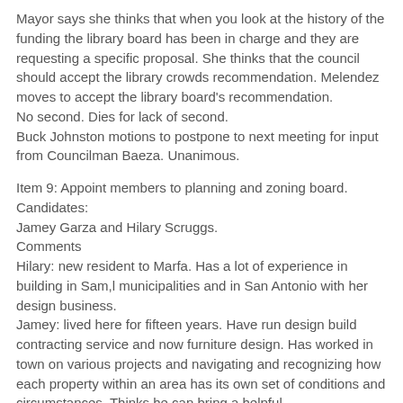Mayor says she thinks that when you look at the history of the funding the library board has been in charge and they are requesting a specific proposal. She thinks that the council should accept the library crowds recommendation. Melendez moves to accept the library board's recommendation.
No second. Dies for lack of second.
Buck Johnston motions to postpone to next meeting for input from Councilman Baeza. Unanimous.
Item 9: Appoint members to planning and zoning board.
Candidates:
Jamey Garza and Hilary Scruggs.
Comments
Hilary: new resident to Marfa. Has a lot of experience in building in Sam,l municipalities and in San Antonio with her design business.
Jamey: lived here for fifteen years. Have run design build contracting service and now furniture design. Has worked in town on various projects and navigating and recognizing how each property within an area has its own set of conditions and circumstances. Thinks he can bring a helpful